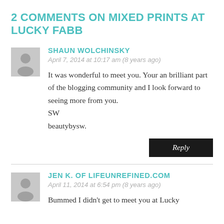2 COMMENTS ON MIXED PRINTS AT LUCKY FABB
SHAUN WOLCHINSKY
April 7, 2014 at 10:17 am (8 years ago)
It was wonderful to meet you. Your an brilliant part of the blogging community and I look forward to seeing more from you.
SW
beautybysw.
Reply
JEN K. OF LIFEUNREFINED.COM
April 11, 2014 at 6:54 pm (8 years ago)
Bummed I didn't get to meet you at Lucky